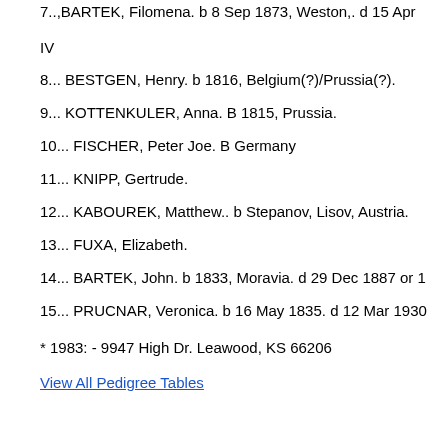7..,BARTEK, Filomena. b 8 Sep 1873, Weston,. d 15 Apr
IV
8... BESTGEN, Henry. b 1816, Belgium(?)/Prussia(?).
9... KOTTENKULER, Anna. B 1815, Prussia.
10... FISCHER, Peter Joe. B Germany
11... KNIPP, Gertrude.
12... KABOUREK, Matthew.. b Stepanov, Lisov, Austria.
13... FUXA, Elizabeth.
14... BARTEK, John. b 1833, Moravia. d 29 Dec 1887 or 1
15... PRUCNAR, Veronica. b 16 May 1835. d 12 Mar 1930
* 1983: - 9947 High Dr. Leawood, KS 66206
View All Pedigree Tables